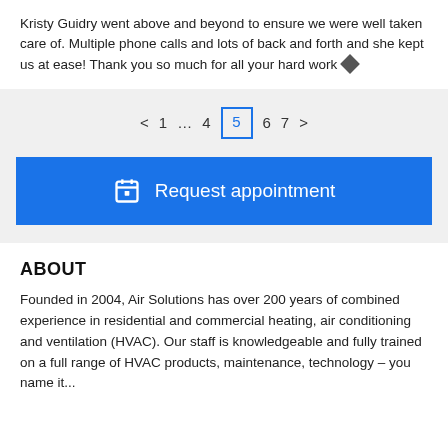Kristy Guidry went above and beyond to ensure we were well taken care of. Multiple phone calls and lots of back and forth and she kept us at ease! Thank you so much for all your hard work ◆
< 1 … 4 5 6 7 >
[Figure (other): Request appointment button with calendar icon]
ABOUT
Founded in 2004, Air Solutions has over 200 years of combined experience in residential and commercial heating, air conditioning and ventilation (HVAC). Our staff is knowledgeable and fully trained on a full range of HVAC products, maintenance, technology – you name it...